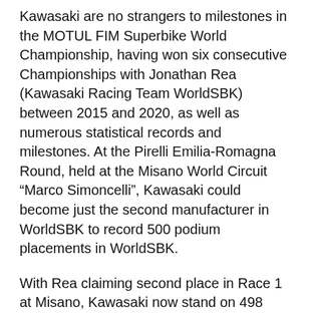Kawasaki are no strangers to milestones in the MOTUL FIM Superbike World Championship, having won six consecutive Championships with Jonathan Rea (Kawasaki Racing Team WorldSBK) between 2015 and 2020, as well as numerous statistical records and milestones. At the Pirelli Emilia-Romagna Round, held at the Misano World Circuit “Marco Simoncelli”, Kawasaki could become just the second manufacturer in WorldSBK to record 500 podium placements in WorldSBK.
With Rea claiming second place in Race 1 at Misano, Kawasaki now stand on 498 podiums with only one other manufacturer ahead of them in the overall list. Italian manufacturers Ducati have their own milestone in sight and stand on 995 podiums, but Kawasaki are just two away from a nice round 500 WorldSBK podiums and will be hoping to reach that milestone as soon as possible with it...